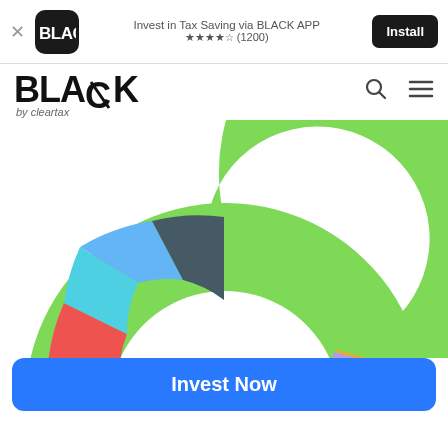[Figure (screenshot): App install ad banner for BLACK by ClearTax app showing app icon, title 'Invest in Tax Saving via BLACK APP', star rating 4.5 (1200 reviews), and Install button]
[Figure (logo): BLACK by cleartax logo with large bold BLACK text and 'by cleartax' subtitle]
[Figure (donut-chart): Donut/pie chart showing portfolio allocation with segments in green (large ~45%), pink/hot-pink (large ~20%), red (~12%), teal/dark-green (~7%), cyan/teal (~5%), blue (~8%), dark-navy (~5%), and tiny orange and purple slices at the bottom]
Invest Now